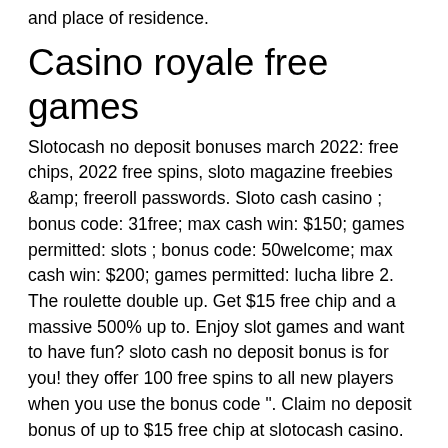and place of residence.
Casino royale free games
Slotocash no deposit bonuses march 2022: free chips, 2022 free spins, sloto magazine freebies &amp; freeroll passwords. Sloto cash casino ; bonus code: 31free; max cash win: $150; games permitted: slots ; bonus code: 50welcome; max cash win: $200; games permitted: lucha libre 2. The roulette double up. Get $15 free chip and a massive 500% up to. Enjoy slot games and want to have fun? sloto cash no deposit bonus is for you! they offer 100 free spins to all new players when you use the bonus code ". Claim no deposit bonus of up to $15 free chip at slotocash casino. Sign up to claim this all registered players bonus. Kick off the new year with